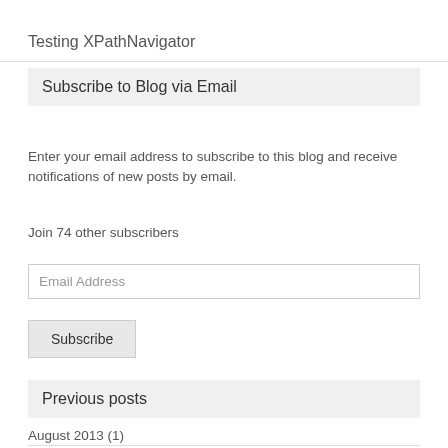Testing XPathNavigator
Subscribe to Blog via Email
Enter your email address to subscribe to this blog and receive notifications of new posts by email.
Join 74 other subscribers
Email Address
Subscribe
Previous posts
August 2013 (1)